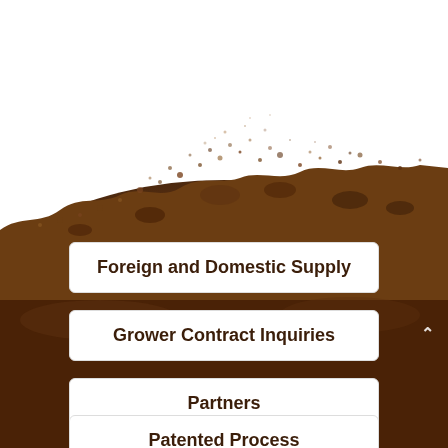[Figure (photo): Soil/dirt pile with scattered particles against a white background, forming a mound that occupies the lower two-thirds of the image.]
Foreign and Domestic Supply
Grower Contract Inquiries
Partners
Patented Process